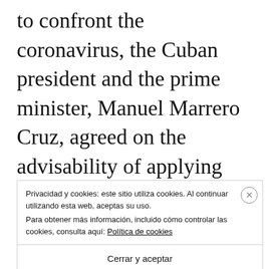to confront the coronavirus, the Cuban president and the prime minister, Manuel Marrero Cruz, agreed on the advisability of applying the first booster dose with the Cuban anti-COVID-19 vaccines, to adolescents and young people between the ages of 12 a
Privacidad y cookies: este sitio utiliza cookies. Al continuar utilizando esta web, aceptas su uso.
Para obtener más información, incluido cómo controlar las cookies, consulta aquí: Política de cookies
Cerrar y aceptar